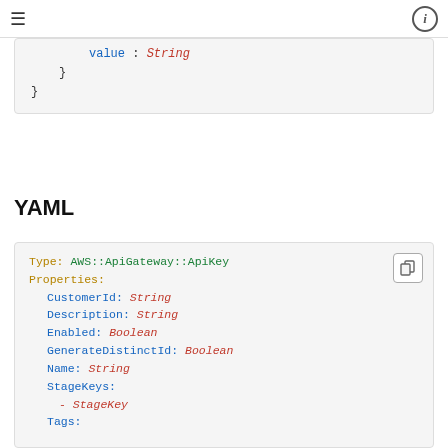☰  ⓘ
[Figure (screenshot): Code block (top portion, partial) showing JSON/YAML snippet with 'value: String' and closing braces]
YAML
[Figure (screenshot): YAML code block showing AWS::ApiGateway::ApiKey resource with Properties: CustomerId: String, Description: String, Enabled: Boolean, GenerateDistinctId: Boolean, Name: String, StageKeys: - StageKey, Tags:]